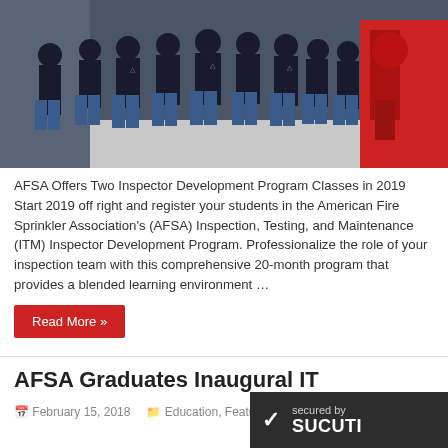[Figure (photo): Group photo of approximately 11 men in dark navy/black t-shirts standing together in what appears to be a fire sprinkler equipment room with red equipment visible in the background.]
AFSA Offers Two Inspector Development Program Classes in 2019 Start 2019 off right and register your students in the American Fire Sprinkler Association's (AFSA) Inspection, Testing, and Maintenance (ITM) Inspector Development Program. Professionalize the role of your inspection team with this comprehensive 20-month program that provides a blended learning environment …
Read More »
AFSA Graduates Inaugural IT
February 15, 2018    Education, Featured Articles